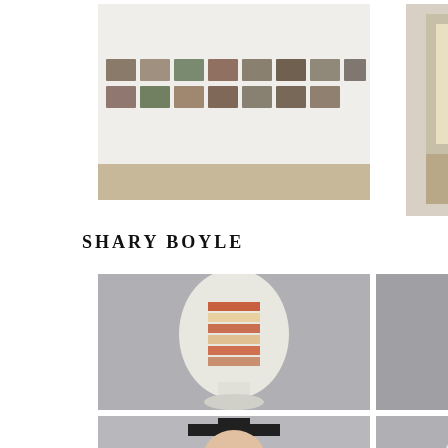[Figure (photo): Gallery wall with a row of small framed artworks/paintings mounted horizontally on a white wall]
[Figure (photo): Stack of books and boxes arranged together, with portrait photographs on top]
SHARY BOYLE
[Figure (photo): White mannequin head sculpture with vertical orange and red stripes across the face]
[Figure (photo): Dark bronze-colored sculptural bust with a bird-like beak and blue floral element]
[Figure (photo): Terracotta-colored sculptural head seen from behind with flower/floral element blooming from the top]
[Figure (photo): Ceramic figure of a child wearing a graduation cap, with colorful layered fabric-like ceramic dress]
[Figure (photo): Ceramic sculpture of two figures sitting, one looking through binoculars, wearing floral/patterned dress]
[Figure (photo): Ceramic sculpture of a large hand with small decorative figures and objects resting on it]
[Figure (photo): Partial view of additional artworks at bottom of page (cropped)]
[Figure (photo): Partial view of additional artworks at bottom of page (cropped)]
[Figure (photo): Partial view of additional artworks at bottom of page (cropped)]